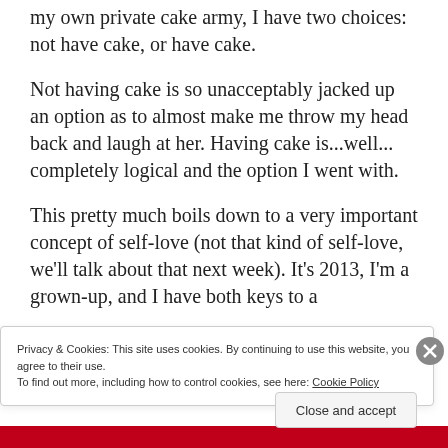my own private cake army, I have two choices: not have cake, or have cake.
Not having cake is so unacceptably jacked up an option as to almost make me throw my head back and laugh at her. Having cake is...well... completely logical and the option I went with.
This pretty much boils down to a very important concept of self-love (not that kind of self-love, we'll talk about that next week). It's 2013, I'm a grown-up, and I have both keys to a
Privacy & Cookies: This site uses cookies. By continuing to use this website, you agree to their use.
To find out more, including how to control cookies, see here: Cookie Policy
Close and accept